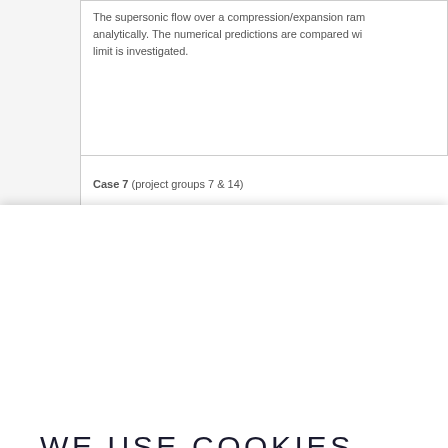The supersonic flow over a compression/expansion ramp is compared analytically. The numerical predictions are compared with the limit is investigated.
Case 7 (project groups 7 & 14)
WE USE COOKIES
We use our own and third-party cookies to personalize content and to analyze web traffic.
ACCEPT
REJECT